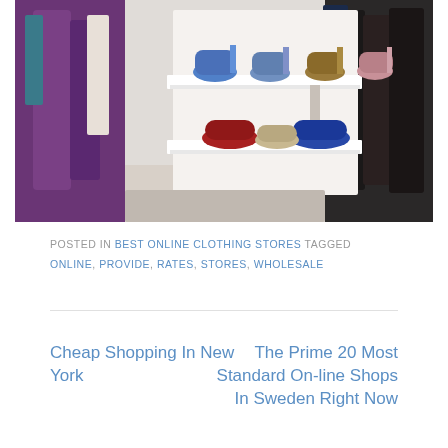[Figure (photo): A retail clothing store display showing white shelves with various women's shoes (blue heels, brown heels, red flats, blue flats) and clothing items hanging on racks including purple/violet garments and dark garments on the right.]
POSTED IN BEST ONLINE CLOTHING STORES TAGGED ONLINE, PROVIDE, RATES, STORES, WHOLESALE
Cheap Shopping In New York
The Prime 20 Most Standard On-line Shops In Sweden Right Now